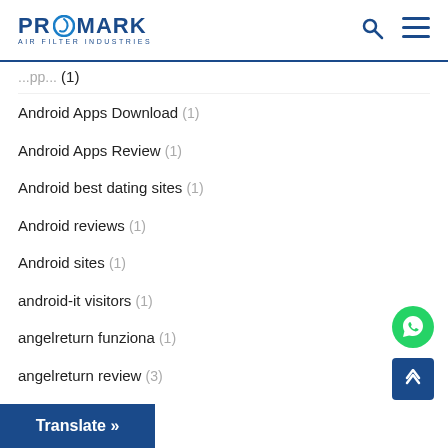PROMARK AIR FILTER INDUSTRIES
Android Apps Download (1)
Android Apps Review (1)
Android best dating sites (1)
Android reviews (1)
Android sites (1)
android-it visitors (1)
angelreturn funziona (1)
angelreturn review (3)
a... (1)